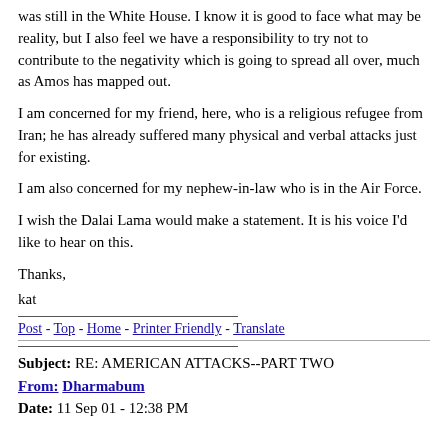was still in the White House. I know it is good to face what may be reality, but I also feel we have a responsibility to try not to contribute to the negativity which is going to spread all over, much as Amos has mapped out.
I am concerned for my friend, here, who is a religious refugee from Iran; he has already suffered many physical and verbal attacks just for existing.
I am also concerned for my nephew-in-law who is in the Air Force.
I wish the Dalai Lama would make a statement. It is his voice I'd like to hear on this.
Thanks,
kat
Post - Top - Home - Printer Friendly - Translate
Subject: RE: AMERICAN ATTACKS--PART TWO
From: Dharmabum
Date: 11 Sep 01 - 12:38 PM